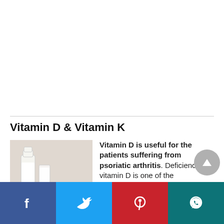Vitamin D & Vitamin K
[Figure (photo): Photo of milk bottle and eggs on a light surface]
Vitamin D is useful for the patients suffering from psoriatic arthritis. Deficiency of vitamin D is one of the
[Figure (other): Social sharing bar with Facebook, Twitter, Pinterest, and WhatsApp buttons]